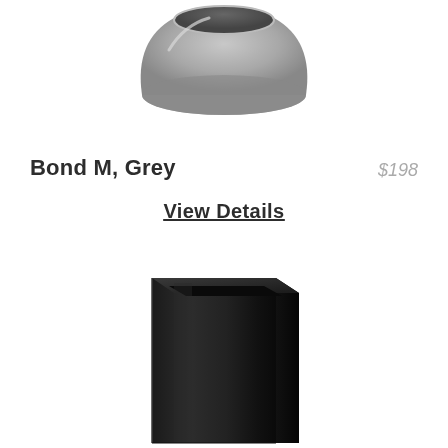[Figure (photo): Grey bowl-shaped planter/vase, wide at top narrowing toward bottom, matte grey finish, shown from slightly above]
Bond M, Grey
$198
View Details
[Figure (photo): Tall rectangular black planter, square cross-section, matte black finish, slightly glossy highlights, shown from slight angle]